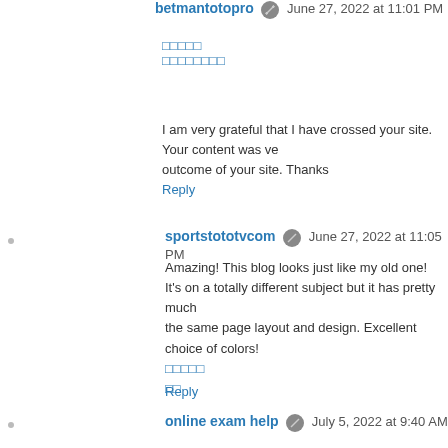betmantotopro · June 27, 2022 at 11:01 PM
□□□□□
□□□□□□□□
I am very grateful that I have crossed your site. Your content was ve… outcome of your site. Thanks
Reply
sportstototvcom · June 27, 2022 at 11:05 PM
Amazing! This blog looks just like my old one!
It's on a totally different subject but it has pretty much
the same page layout and design. Excellent choice of colors!
□□□□□
□□
Reply
online exam help · July 5, 2022 at 9:40 AM
Amazing blog for students. Exams can take up all the energy of a stu… have to face, and it can become overwhelming. But now, students can g… of their homes.
Reply